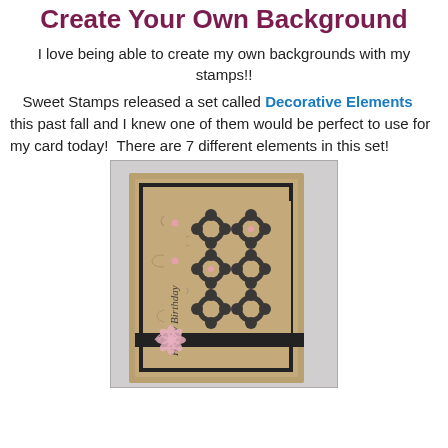Create Your Own Background
I love being able to create my own backgrounds with my stamps!!
Sweet Stamps released a set called Decorative Elements this past fall and I knew one of them would be perfect to use for my card today!  There are 7 different elements in this set!
[Figure (photo): A handmade birthday card with kraft paper background, black decorative floral stamp pattern, black ribbon, and pink flower embellishment with 'Happy Birthday' written vertically on a strip.]